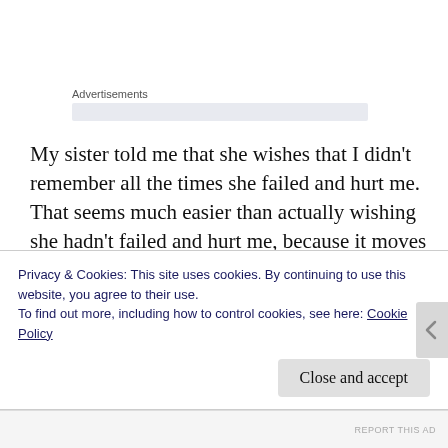Advertisements
My sister told me that she wishes that I didn’t remember all the times she failed and hurt me.  That seems much easier than actually wishing she hadn’t failed and hurt me, because it moves the blame onto my too acute memory and not on to her actions.   It means she doesn’t have to work to change who she is, rather I have to work harder at forgetting.   My
Privacy & Cookies: This site uses cookies. By continuing to use this website, you agree to their use.
To find out more, including how to control cookies, see here: Cookie Policy
Close and accept